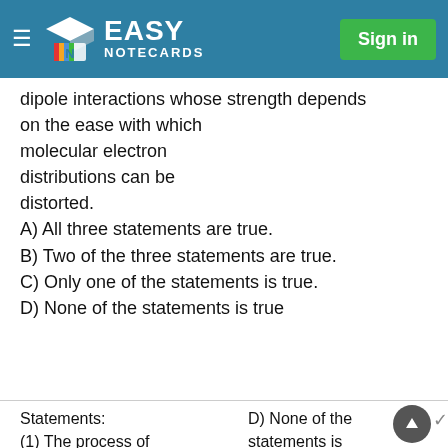EASY NOTECARDS | Sign in
dipole interactions whose strength depends on the ease with which molecular electron distributions can be distorted.
A) All three statements are true.
B) Two of the three statements are true.
C) Only one of the statements is true.
D) None of the statements is true
Statements:
(1) The process of
D) None of the statements is true.